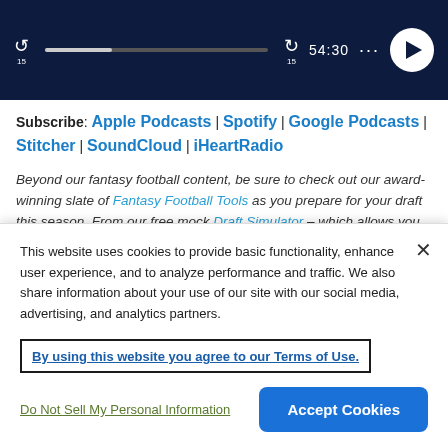[Figure (screenshot): Podcast player UI with dark navy background showing skip back 15s button, progress bar, skip forward 15s button, time display 54:30, options dots, and circular play button]
Subscribe: Apple Podcasts | Spotify | Google Podcasts | Stitcher | SoundCloud | iHeartRadio
Beyond our fantasy football content, be sure to check out our award-winning slate of Fantasy Football Tools as you prepare for your draft this season. From our free mock Draft Simulator – which allows you to mock draft
This website uses cookies to provide basic functionality, enhance user experience, and to analyze performance and traffic. We also share information about your use of our site with our social media, advertising, and analytics partners.
By using this website you agree to our Terms of Use.
Do Not Sell My Personal Information
Accept Cookies